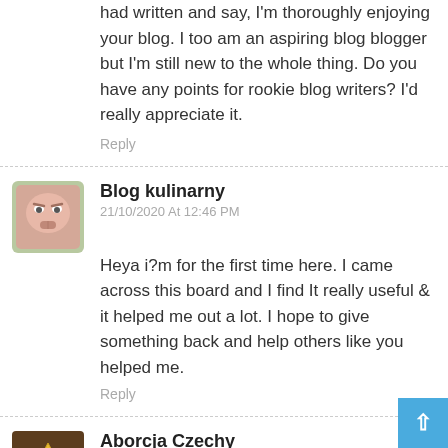had written and say, I'm thoroughly enjoying your blog. I too am an aspiring blog blogger but I'm still new to the whole thing. Do you have any points for rookie blog writers? I'd really appreciate it.
Reply
Blog kulinarny
21/10/2020 At 12:46 PM
Heya i?m for the first time here. I came across this board and I find It really useful & it helped me out a lot. I hope to give something back and help others like you helped me.
Reply
Aborcja Czechy
21/10/2020 At 2:46 AM
My brother recommended I might like this blog. He was totally right. This post actually made my day. You can not